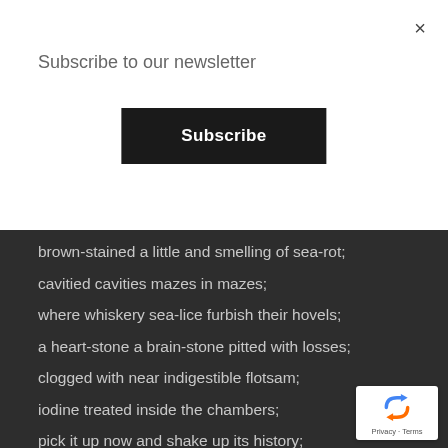×
Subscribe to our newsletter
Subscribe
brown-stained a little and smelling of sea-rot;
cavitied cavities mazes in mazes;
where whiskery sea-lice furbish their hovels;
a heart-stone a brain-stone pitted with losses;
clogged with near indigestible flotsam;
iodine treated inside the chambers;
pick it up now and shake up its history;
its shanty of sand and broken shell-shards,
choking and rattling inside its lung.